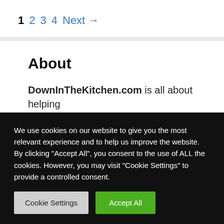1  2  3  4  Next →
About
DownInTheKitchen.com is all about helping
We use cookies on our website to give you the most relevant experience and to help us improve the website. By clicking "Accept All", you consent to the use of ALL the cookies. However, you may visit "Cookie Settings" to provide a controlled consent.